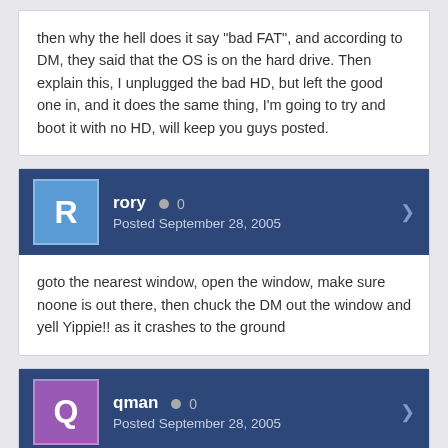then why the hell does it say "bad FAT", and according to DM, they said that the OS is on the hard drive. Then explain this, I unplugged the bad HD, but left the good one in, and it does the same thing, I'm going to try and boot it with no HD, will keep you guys posted.
rory  • 0
Posted September 28, 2005
goto the nearest window, open the window, make sure noone is out there, then chuck the DM out the window and yell Yippie!! as it crashes to the ground
qman  • 0
Posted September 28, 2005
you a...